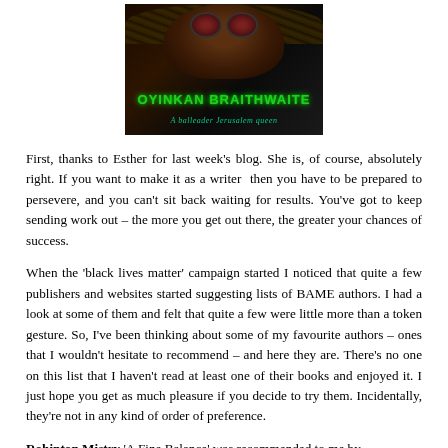[Figure (photo): Book cover or author image showing a dark-skinned person with round red-tinted goggles/glasses, with text 'OYINKAN BRAITHWAITE' in green and italic subtitle text below.]
First, thanks to Esther for last week's blog. She is, of course, absolutely right. If you want to make it as a writer then you have to be prepared to persevere, and you can't sit back waiting for results. You've got to keep sending work out – the more you get out there, the greater your chances of success.
When the 'black lives matter' campaign started I noticed that quite a few publishers and websites started suggesting lists of BAME authors. I had a look at some of them and felt that quite a few were little more than a token gesture. So, I've been thinking about some of my favourite authors – ones that I wouldn't hesitate to recommend – and here they are. There's no one on this list that I haven't read at least one of their books and enjoyed it. I just hope you get as much pleasure if you decide to try them. Incidentally, they're not in any kind of order of preference.
Rohinton Mistry 'A Fine Balance' was recommended to me by